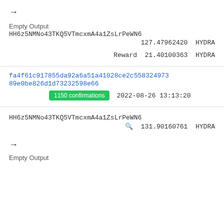→
Empty Output
HH6z5NMNo43TKQ5VTmcxmA4a1ZsLrPeWN6
127.47962420 HYDRA
Reward  21.40100363 HYDRA
fa4f61c917855da92a6a51a41028ce2c558324973
89e0be826d1d73232598e66
1150 confirmations  2022-08-26 13:13:20
HH6z5NMNo43TKQ5VTmcxmA4a1ZsLrPeWN6
131.90160761 HYDRA
→
Empty Output